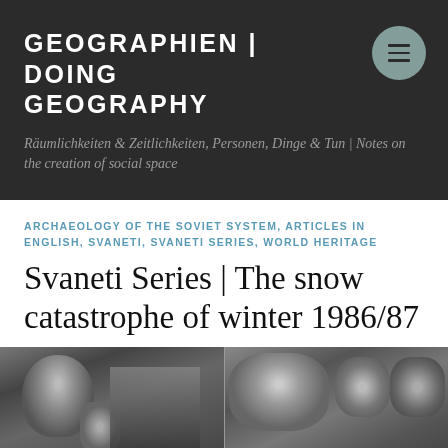GEOGRAPHIEN | DOING GEOGRAPHY
Räumlichkeiten & Zeitlichkeiten, Personen, Dinge & Tun | Notes on the creation of social space
ARCHAEOLOGY OF THE SOVIET SYSTEM, ARTICLES IN ENGLISH, SVANETI, SVANETI SERIES, WORLD HERITAGE
Svaneti Series | The snow catastrophe of winter 1986/87
[Figure (photo): Two black and white photographs side by side showing people in winter clothing, related to Svaneti winter 1986/87]
Abonnieren ...